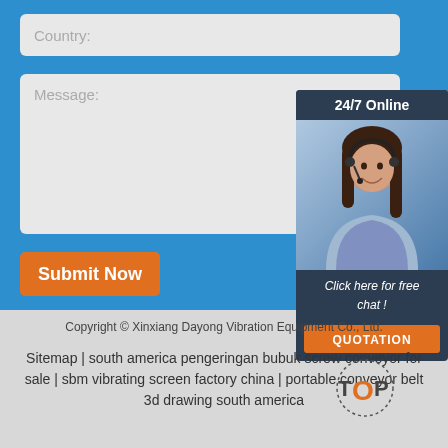Country:
Message:
Submit Now
[Figure (photo): Customer service representative with headset, 24/7 Online chat widget with dark blue background, photo of smiling woman with headset, 'Click here for free chat!' text and orange QUOTATION button]
Copyright © Xinxiang Dayong Vibration Equipment Co., Ltd.
Sitemap | south america pengeringan bubuk screw conveyor for sale | sbm vibrating screen factory china | portable conveyor belt 3d drawing south america